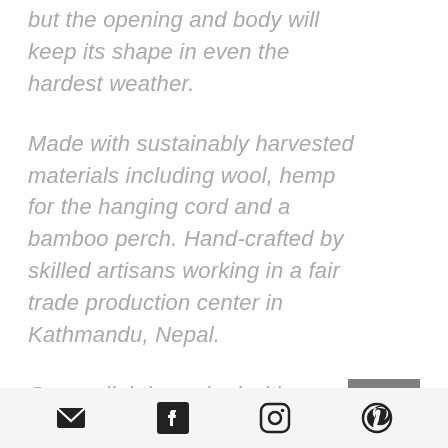but the opening and body will keep its shape in even the hardest weather.
Made with sustainably harvested materials including wool, hemp for the hanging cord and a bamboo perch. Hand-crafted by skilled artisans working in a fair trade production center in Kathmandu, Nepal.
Comes lightly packed with shredded recycled paper to maintain shape. Remove when
Email | Facebook | Instagram | Pinterest icons